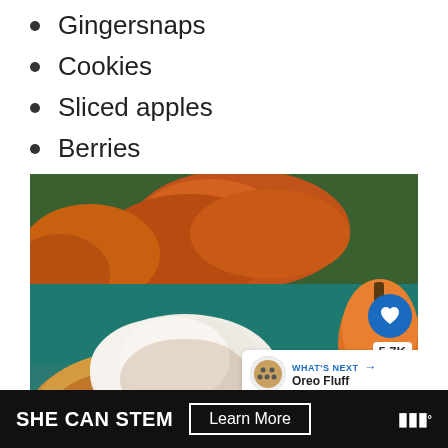Gingersnaps
Cookies
Sliced apples
Berries
[Figure (photo): Close-up photo of a pumpkin pie with a large dollop of whipped cream dusted with cinnamon, surrounded by autumn leaves and a pumpkin in the background on a teal surface. Overlay elements include a heart/like button showing 5.7K, a share button, and a 'What's Next: Oreo Fluff' panel.]
SHE CAN STEM  Learn More